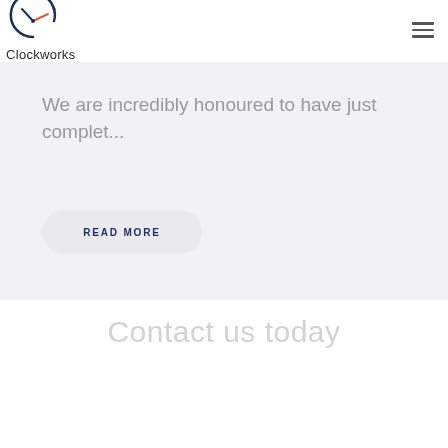Clockworks
We are incredibly honoured to have just complet...
READ MORE
Contact us today